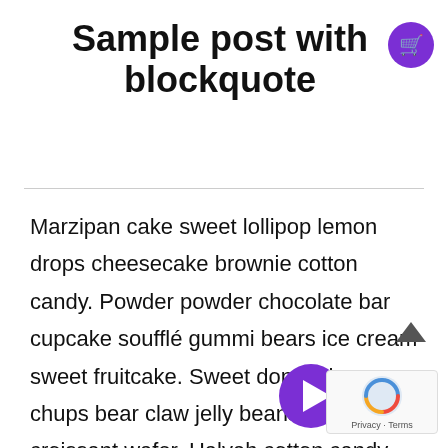Sample post with blockquote
Marzipan cake sweet lollipop lemon drops cheesecake brownie cotton candy. Powder powder chocolate bar cupcake soufflé gummi bears ice cream sweet fruitcake. Sweet donut chupa chups bear claw jelly beans jelly beans croissant wafer. Halvah cotton candy chocolate croissant chocolate bar. Cake icing sugar plum muffin brownie I love caramels. Candy cane chocolate bar powder jelly tart gummies